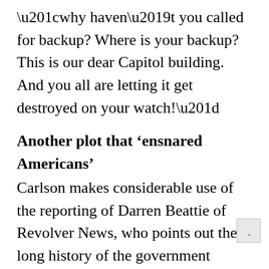“why haven’t you called for backup? Where is your backup? This is our dear Capitol building. And you all are letting it get destroyed on your watch!”
Another plot that ‘ensnared Americans’
Carlson makes considerable use of the reporting of Darren Beattie of Revolver News, who points out the long history of the government “ensnaring Americans in plots.”
Beattie sees a similarity between the plot to kidnap Democratic Michigan Gov. Gretchen Whitmer and Jan. 6. His reporting found that as many as 12 of the 18 conspirators involved in the